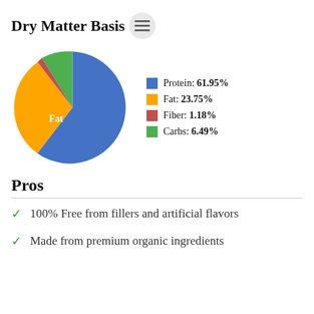Dry Matter Basis
[Figure (pie-chart): Dry Matter Basis]
Pros
100% Free from fillers and artificial flavors
Made from premium organic ingredients